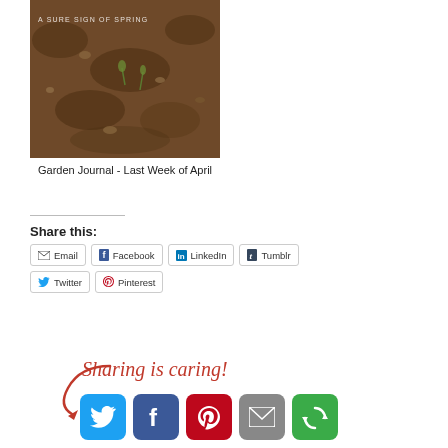[Figure (photo): Overhead photo of soil/ground with text overlay 'A sure sign of spring']
Garden Journal - Last Week of April
Share this:
[Figure (infographic): Social share buttons: Email, Facebook, LinkedIn, Tumblr, Twitter, Pinterest]
[Figure (infographic): Sharing is caring! with arrow graphic and social media icons: Twitter, Facebook, Pinterest, Email, More]